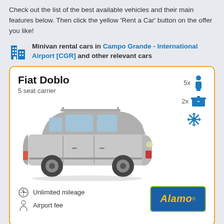Check out the list of the best available vehicles and their main features below. Then click the yellow 'Rent a Car' button on the offer you like!
Minivan rental cars in Campo Grande - International Airport [CGR] and other relevant cars
[Figure (illustration): Car rental listing card for Fiat Doblo, a 5 seat carrier, with image of silver minivan, icons showing 5x passengers, 2x luggage, air conditioning, features of Unlimited mileage and Airport fee, and Alamo rental brand logo]